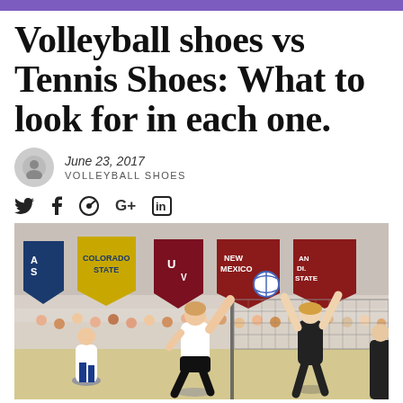Volleyball shoes vs Tennis Shoes: What to look for in each one.
June 23, 2017
VOLLEYBALL SHOES
[Figure (other): Social sharing icons: Twitter bird, Facebook f, Pinterest circle, Google+, LinkedIn in]
[Figure (photo): Action photo of a women's indoor volleyball game. Players in blue and white uniforms and opponents in black. Banners on the wall include Colorado State, New Mexico State. A player is jumping to spike the ball over the net while the opposing blocker reaches up.]